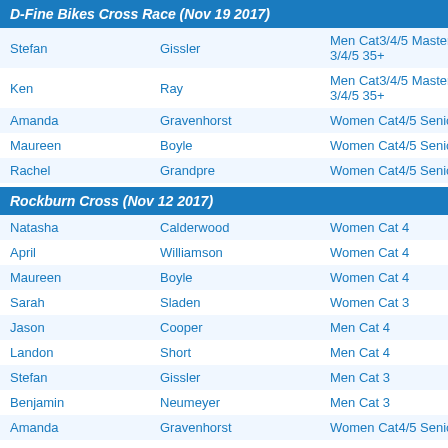D-Fine Bikes Cross Race (Nov 19 2017)
| First | Last | Category |
| --- | --- | --- |
| Stefan | Gissler | Men Cat3/4/5 Masters 35+ 3/4/5 35+ |
| Ken | Ray | Men Cat3/4/5 Masters 35+ 3/4/5 35+ |
| Amanda | Gravenhorst | Women Cat4/5 Senior |
| Maureen | Boyle | Women Cat4/5 Senior |
| Rachel | Grandpre | Women Cat4/5 Senior |
Rockburn Cross (Nov 12 2017)
| First | Last | Category |
| --- | --- | --- |
| Natasha | Calderwood | Women Cat 4 |
| April | Williamson | Women Cat 4 |
| Maureen | Boyle | Women Cat 4 |
| Sarah | Sladen | Women Cat 3 |
| Jason | Cooper | Men Cat 4 |
| Landon | Short | Men Cat 4 |
| Stefan | Gissler | Men Cat 3 |
| Benjamin | Neumeyer | Men Cat 3 |
| Amanda | Gravenhorst | Women Cat4/5 Senior |
| Maureen | Boyle | Women Cat4/5 Senior |
| Rachel | Grandpre | Women Cat4/5 Senior |